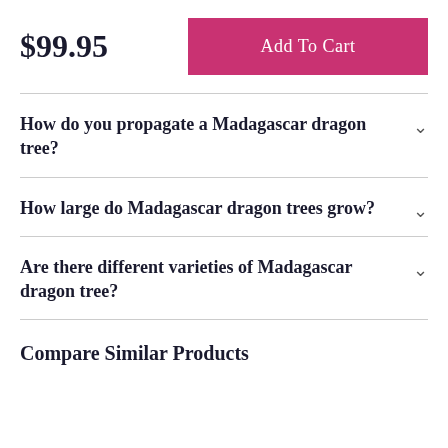$99.95
Add To Cart
How do you propagate a Madagascar dragon tree?
How large do Madagascar dragon trees grow?
Are there different varieties of Madagascar dragon tree?
Compare Similar Products